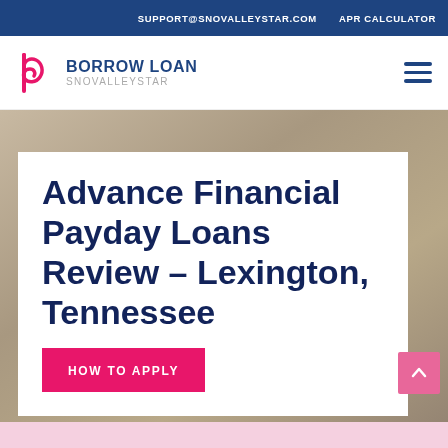SUPPORT@SNOVALLEYSTAR.COM   APR CALCULATOR
[Figure (logo): Borrow Loan Snovalleystar logo with stylized 'b' letter mark in pink/magenta and blue text]
Advance Financial Payday Loans Review – Lexington, Tennessee
HOW TO APPLY